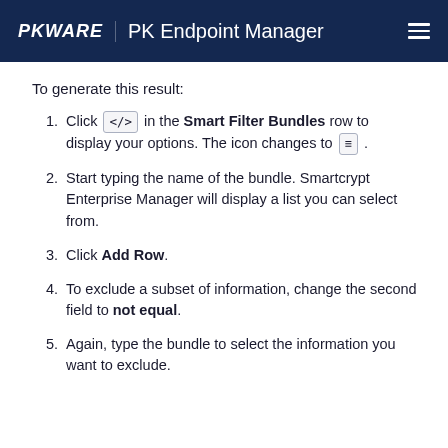PKWARE  PK Endpoint Manager
To generate this result:
Click </> in the Smart Filter Bundles row to display your options. The icon changes to ≡ .
Start typing the name of the bundle. Smartcrypt Enterprise Manager will display a list you can select from.
Click Add Row.
To exclude a subset of information, change the second field to not equal.
Again, type the bundle to select the information you want to exclude.